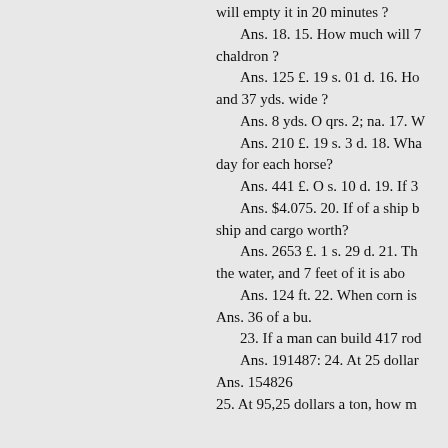will empty it in 20 minutes ?
Ans. 18. 15. How much will 7 chaldron ?
Ans. 125 £. 19 s. 01 d. 16. How and 37 yds. wide ?
Ans. 8 yds. O qrs. 2; na. 17. W
Ans. 210 £. 19 s. 3 d. 18. What day for each horse?
Ans. 441 £. O s. 10 d. 19. If 34
Ans. $4.075. 20. If of a ship be ship and cargo worth?
Ans. 2653 £. 1 s. 29 d. 21. The the water, and 7 feet of it is above
Ans. 124 ft. 22. When corn is s Ans. 36 of a bu.
23. If a man can build 417 rod
Ans. 191487: 24. At 25 dollars Ans. 154826
25. At 95,25 dollars a ton, how m